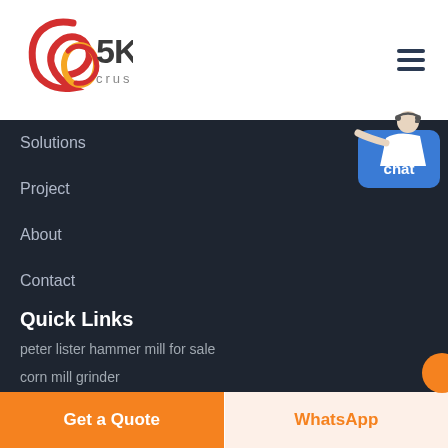[Figure (logo): SKS crusher expert logo with red and gold swirl emblem and 5KS text]
Solutions
Project
About
Contact
Quick Links
peter lister hammer mill for sale
corn mill grinder
ball mill used for quartz
[Figure (illustration): Customer service person with headset pointing]
Free chat
Get a Quote
WhatsApp